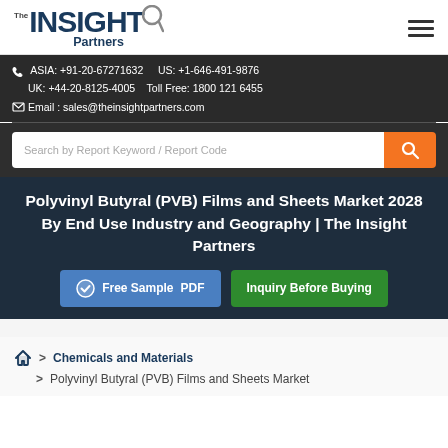[Figure (logo): The Insight Partners logo with magnifying glass]
ASIA: +91-20-67271632   US: +1-646-491-9876
UK: +44-20-8125-4005   Toll Free: 1800 121 6455
Email : sales@theinsightpartners.com
[Figure (screenshot): Search bar with placeholder text 'Search by Report Keyword / Report Code' and an orange search button]
Polyvinyl Butyral (PVB) Films and Sheets Market 2028 By End Use Industry and Geography | The Insight Partners
Free Sample PDF   Inquiry Before Buying
> Chemicals and Materials
> Polyvinyl Butyral (PVB) Films and Sheets Market